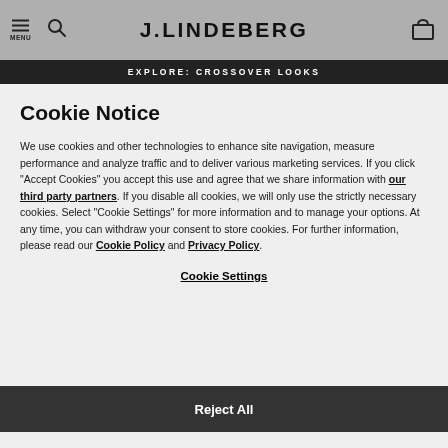J.LINDEBERG
EXPLORE: CROSSOVER LOOKS
Cookie Notice
We use cookies and other technologies to enhance site navigation, measure performance and analyze traffic and to deliver various marketing services. If you click “Accept Cookies” you accept this use and agree that we share information with our third party partners. If you disable all cookies, we will only use the strictly necessary cookies. Select “Cookie Settings” for more information and to manage your options. At any time, you can withdraw your consent to store cookies. For further information, please read our Cookie Policy and Privacy Policy.
Cookie Settings
Reject All